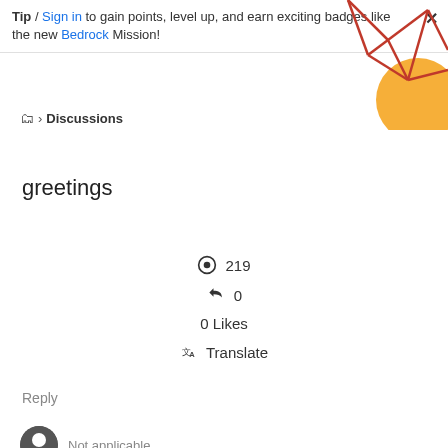Tip / Sign in to gain points, level up, and earn exciting badges like the new Bedrock Mission! ×
[Figure (illustration): Decorative geometric red lines and orange circle in top right corner]
📁 › Discussions
greetings
👁 219
↩ 0
0 Likes
🔤 Translate
Reply
Not applicable